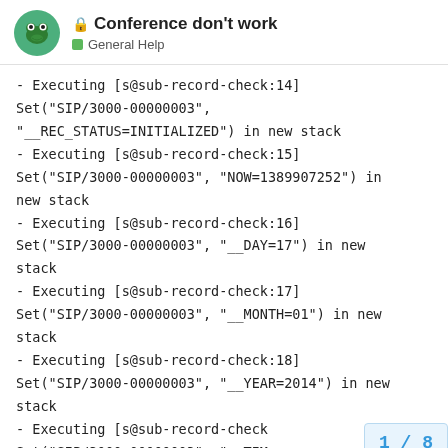Conference don't work — General Help
– Executing [s@sub-record-check:14] Set("SIP/3000-00000003", "__REC_STATUS=INITIALIZED") in new stack
– Executing [s@sub-record-check:15] Set("SIP/3000-00000003", "NOW=1389907252") in new stack
– Executing [s@sub-record-check:16] Set("SIP/3000-00000003", "__DAY=17") in new stack
– Executing [s@sub-record-check:17] Set("SIP/3000-00000003", "__MONTH=01") in new stack
– Executing [s@sub-record-check:18] Set("SIP/3000-00000003", "__YEAR=2014") in new stack
– Executing [s@sub-record-check Set("SIP/3000-00000003", "__TIM